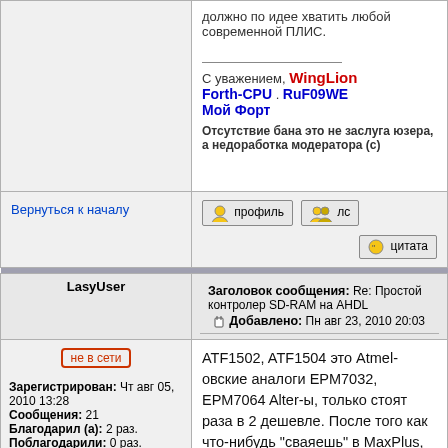должно по идее хватить любой современной ПЛИС.
С уважением, WingLion
Forth-CPU . RuF09WE
Мой Форт
Отсутствие бана это не заслуга юзера, а недоработка модератора (с)
Вернуться к началу
профиль  лс  цитата
Заголовок сообщения: Re: Простой контролер SD-RAM на AHDL
Добавлено: Пн авг 23, 2010 20:03
LasyUser
не в сети
Зарегистрирован: Чт авг 05, 2010 13:28
Сообщения: 21
Благодарил (а): 2 раз.
Поблагодарили: 0 раз.
ATF1502, ATF1504 это Atmel-овские аналоги EPM7032, EPM7064 Alter-ы, только стоят раза в 2 дешевле. После того как что-нибудь "сваяешь" в MaxPlus, остается "скормить" *.pof-файл утилите pof2jed.exe и можно заливать jed-файл в Atmel.